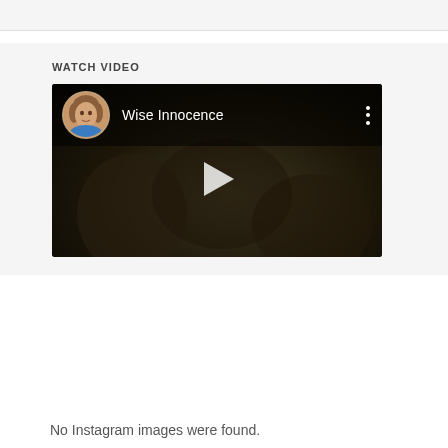WATCH VIDEO
[Figure (screenshot): Video thumbnail showing a dark scene with a woman's circular avatar photo in the top left corner, the title 'Wise Innocence' in white text, a three-dot menu icon on the right, and a play button in the center. The background shows a dim, dark cinematic scene.]
No Instagram images were found.